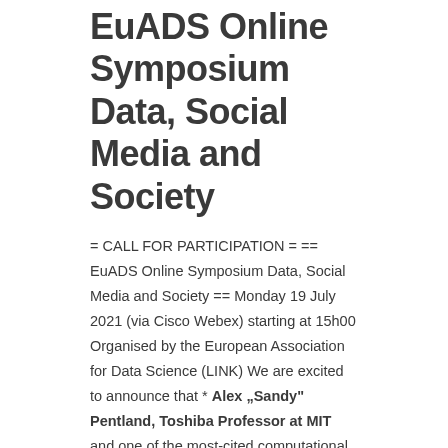EuADS Online Symposium Data, Social Media and Society
= CALL FOR PARTICIPATION = == EuADS Online Symposium Data, Social Media and Society == Monday 19 July 2021 (via Cisco Webex) starting at 15h00 Organised by the European Association for Data Science (LINK) We are excited to announce that * **Alex „Sandy" Pentland, Toshiba Professor at MIT** and one of the most-cited computational scientists… Read More »
Category:  Allgemein  Aus dem Verein GfKl e.V.  Konferenzen und Tagungen
DSSV-ECDA 2021: CALL FOR ABSTRACTS